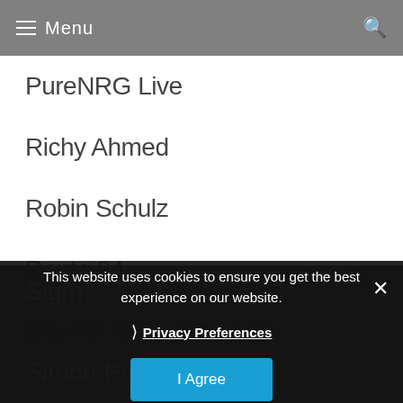Menu
PureNRG Live
Richy Ahmed
Robin Schulz
Route 94
Shy FX ft. Stamina MC
Sigma
Simon Patterson
Steve Aoki
This website uses cookies to ensure you get the best experience on our website.
Privacy Preferences
I Agree